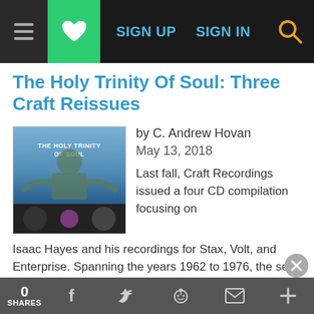SIGN UP  SIGN IN
The Holy Trinity Of Soul: Three Craft Reissues
by C. Andrew Hovan
May 13, 2018
[Figure (photo): Album cover for The Holy Trinity of Soul compilation]
Last fall, Craft Recordings issued a four CD compilation focusing on Isaac Hayes and his recordings for Stax, Volt, and Enterprise. Spanning the years 1962 to 1976, the set cut a wide swathe of Southern soul and managed to put into perspective the importance of Hayes' impressive oeuvre. Now, Craft turns its attention to upscale vinyl …
0 SHARES  f  t  reddit  mail  +